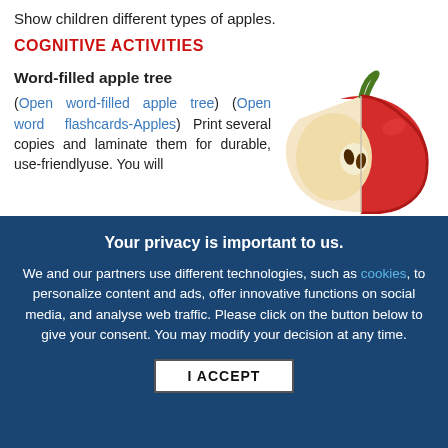Show children different types of apples.
COGNITIVE ACTIVITIES
Word-filled apple tree
(Open word-filled apple tree) (Open word flashcards-Apples)  Print several copies and laminate them for durable, use-friendlyuse. You will
[Figure (illustration): Half of a red apple showing cross-section with seeds and stem]
Your privacy is important to us.
We and our partners use different technologies, such as cookies, to personalize content and ads, offer innovative functions on social media, and analyse web traffic. Please click on the button below to give your consent. You may modify your decision at any time.
I ACCEPT